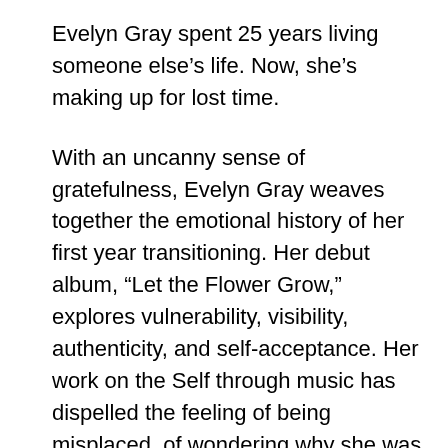Evelyn Gray spent 25 years living someone else's life. Now, she's making up for lost time.
With an uncanny sense of gratefulness, Evelyn Gray weaves together the emotional history of her first year transitioning. Her debut album, “Let the Flower Grow,” explores vulnerability, visibility, authenticity, and self-acceptance. Her work on the Self through music has dispelled the feeling of being misplaced, of wondering why she was alive and what she was doing here – “here” being not just on this planet, but in this body. Her music provides a calmness and encourages space to be held for those needing to feel seen, heard, and accepted. Speaking on her live sound, the New Haven Independent shares: